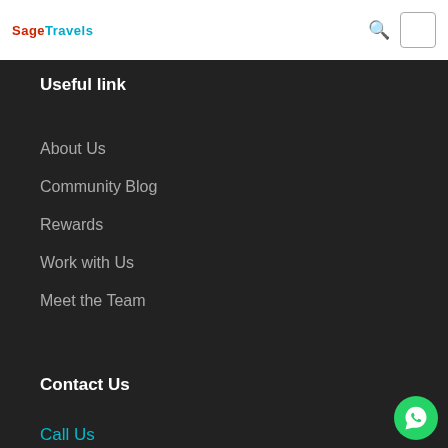SageTravels
Useful link
About Us
Community Blog
Rewards
Work with Us
Meet the Team
Contact Us
Call Us